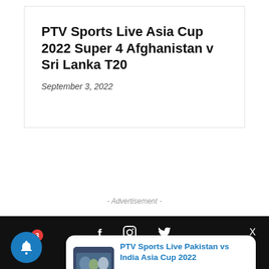PTV Sports Live Asia Cup 2022 Super 4 Afghanistan v Sri Lanka T20
September 3, 2022
- Advertisement -
[Figure (screenshot): Dark footer section with social media icons (Facebook, Instagram, Twitter) and a close button X, with a notification card showing a thumbnail of a cricket match and text 'PTV Sports Live Pakistan vs India Asia Cup 2022' and '15 hours ago', and a blue bell notification button with red badge showing 3]